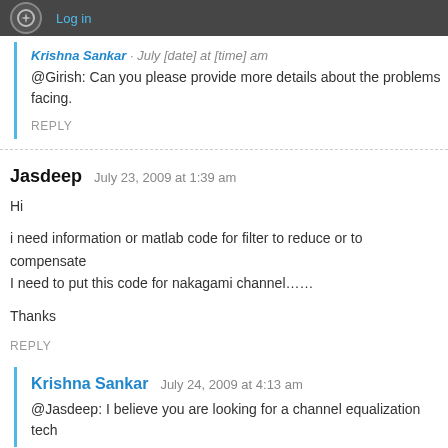Log in
Krishna Sankar · [date truncated] — @Girish: Can you please provide more details about the problems facing.
REPLY
Jasdeep   July 23, 2009 at 1:39 am
Hi
i need information or matlab code for filter to reduce or to compensate I need to put this code for nakagami channel……
Thanks
REPLY
Krishna Sankar   July 24, 2009 at 4:13 am — @Jasdeep: I believe you are looking for a channel equalization tech